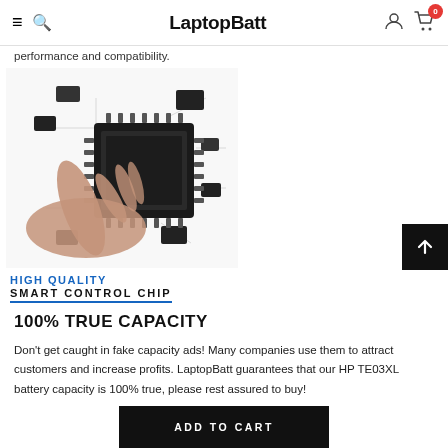LaptopBatt
performance and compatibility.
[Figure (photo): Hand holding a microchip/processor surrounded by electronic components and circuit board elements. Text overlay reads HIGH QUALITY SMART CONTROL CHIP.]
100% TRUE CAPACITY
Don't get caught in fake capacity ads! Many companies use them to attract customers and increase profits. LaptopBatt guarantees that our HP TE03XL battery capacity is 100% true, please rest assured to buy!